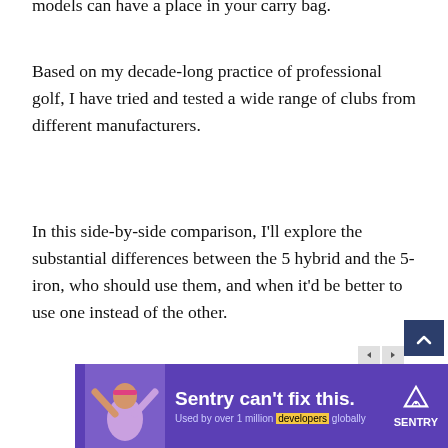models can have a place in your carry bag.
Based on my decade-long practice of professional golf, I have tried and tested a wide range of clubs from different manufacturers.
In this side-by-side comparison, I'll explore the substantial differences between the 5 hybrid and the 5-iron, who should use them, and when it'd be better to use one instead of the other.
[Figure (screenshot): Advertisement banner: Sentry can't fix this. Used by over 1 million developers globally. Purple background with a person raising their arms.]